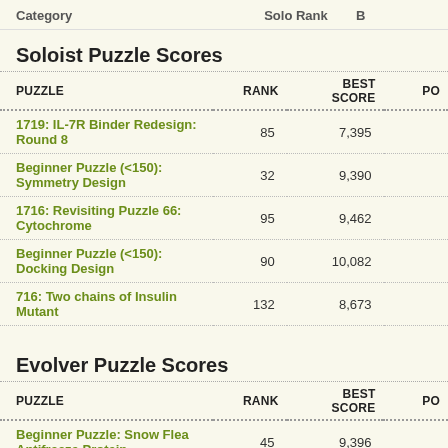Category   Solo Rank
Soloist Puzzle Scores
| PUZZLE | RANK | BEST SCORE | PO... |
| --- | --- | --- | --- |
| 1719: IL-7R Binder Redesign: Round 8 | 85 | 7,395 |  |
| Beginner Puzzle (<150): Symmetry Design | 32 | 9,390 |  |
| 1716: Revisiting Puzzle 66: Cytochrome | 95 | 9,462 |  |
| Beginner Puzzle (<150): Docking Design | 90 | 10,082 |  |
| 716: Two chains of Insulin Mutant | 132 | 8,673 |  |
Evolver Puzzle Scores
| PUZZLE | RANK | BEST SCORE | PO... |
| --- | --- | --- | --- |
| Beginner Puzzle: Snow Flea Antifreeze Protein | 45 | 9,396 |  |
| 464: Three Templates Alignment Puzzle | 34 | 10,207 |  |
| 462: Multi-Start Bacteroides Vulgatus Puzzle | 17 | 11,126 |  |
| 463: Exploration Puzzle of 457 | 25 | 31,950 |  |